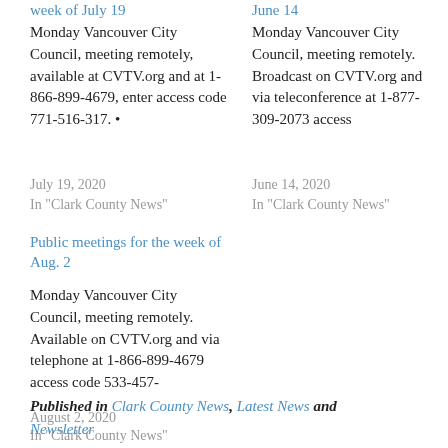week of July 19
Monday Vancouver City Council, meeting remotely, available at CVTV.org and at 1-866-899-4679, enter access code 771-516-317. •
July 19, 2020
In "Clark County News"
June 14
Monday Vancouver City Council, meeting remotely. Broadcast on CVTV.org and via teleconference at 1-877-309-2073 access
June 14, 2020
In "Clark County News"
Public meetings for the week of Aug. 2
Monday Vancouver City Council, meeting remotely. Available on CVTV.org and via telephone at 1-866-899-4679 access code 533-457-
August 2, 2020
In "Clark County News"
Published in Clark County News, Latest News and Newsletter